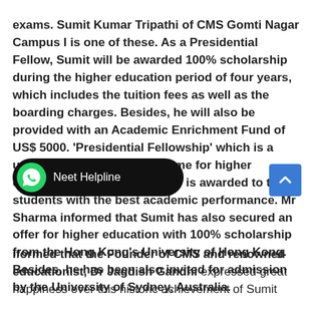exams. Sumit Kumar Tripathi of CMS Gomti Nagar Campus I is one of these. As a Presidential Fellow, Sumit will be awarded 100% scholarship during the higher education period of four years, which includes the tuition fees as well as the boarding charges. Besides, he will also be provided with an Academic Enrichment Fund of US$ 5000. 'Presidential Fellowship' which is a unique educational programme for higher education at Miami University is awarded to the students with the best academic performance. Mr Sharma informed that Sumit has also secured an offer for higher education with 100% scholarship from the Hong Kong's University of Hong Kong. Besides, he has been also invited for admission by the University of Sydney, Australia.
[Figure (other): WhatsApp Neet Helpline button overlay and scroll-to-top blue button]
...informed that the Founder of CMS and renowned educationist, Dr Jagdish Gandhi expressed great happiness over this historic achievement of Sumit